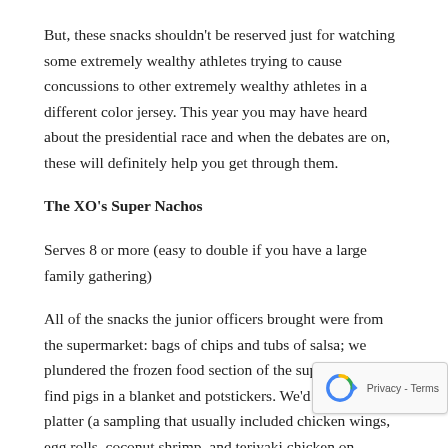But, these snacks shouldn't be reserved just for watching some extremely wealthy athletes trying to cause concussions to other extremely wealthy athletes in a different color jersey. This year you may have heard about the presidential race and when the debates are on, these will definitely help you get through them.
The XO's Super Nachos
Serves 8 or more (easy to double if you have a large family gathering)
All of the snacks the junior officers brought were from the supermarket: bags of chips and tubs of salsa; we plundered the frozen food section of the supermarket to find pigs in a blanket and potstickers. We'd order a pu pu platter (a sampling that usually included chicken wings, egg rolls, coconut shrimp, and teriyaki chicken on skewers) that reminded us of our port calls to Hawaii and the Philippines.
The XO always tried to locate a beer from the hometown of one teams, and on the coffee table in front of the coach was the XO's super